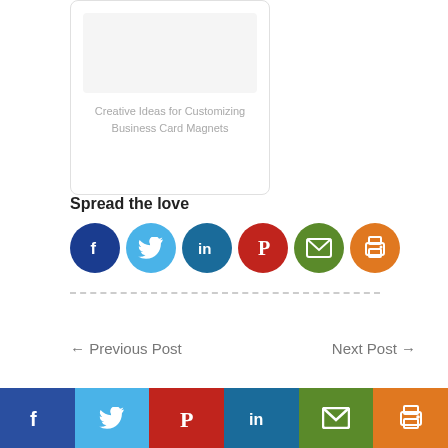[Figure (illustration): Card box with placeholder image and text 'Creative Ideas for Customizing Business Card Magnets']
Spread the love
[Figure (infographic): Row of 6 social share buttons: Facebook (dark blue), Twitter (light blue), LinkedIn (dark blue), Pinterest (red), Email (green), Print (orange)]
← Previous Post
Next Post →
[Figure (infographic): Bottom bar with 6 social share icon buttons: Facebook, Twitter, Pinterest, LinkedIn, Email, Print]